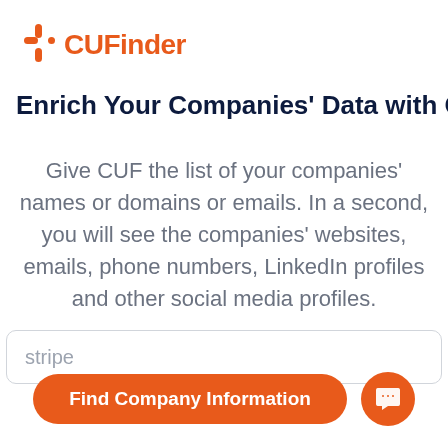CUFinder
Enrich Your Companies' Data with CUF
Give CUF the list of your companies' names or domains or emails. In a second, you will see the companies' websites, emails, phone numbers, LinkedIn profiles and other social media profiles.
[Figure (screenshot): Text input field with placeholder text 'stripe']
[Figure (screenshot): Orange 'Find Company Information' button and orange circular chat icon button]